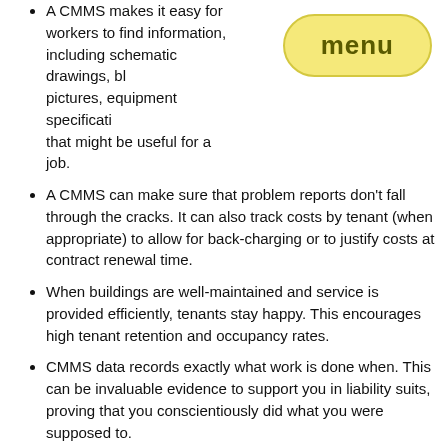A CMMS makes it easy for workers to find information, including schematic drawings, blueprints, pictures, equipment specifications, and anything else that might be useful for a job.
A CMMS can make sure that problem reports don't fall through the cracks. It can also track costs by tenant (when appropriate) to allow for back-charging or to justify costs at contract renewal time.
When buildings are well-maintained and service is provided efficiently, tenants stay happy. This encourages high tenant retention and occupancy rates.
CMMS data records exactly what work is done when. This can be invaluable evidence to support you in liability suits, proving that you conscientiously did what you were supposed to.
Tenant Retention
A recent survey calculated that the average annual turnover rate in rental properties was 59.1%. That means that every